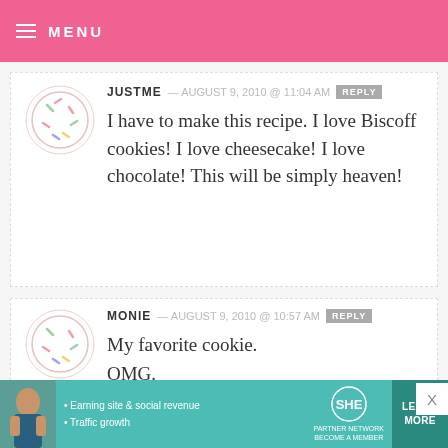MENU
JUSTME — AUGUST 9, 2010 @ 11:04 AM REPLY
I have to make this recipe. I love Biscoff cookies! I love cheesecake! I love chocolate! This will be simply heaven!
MONIE — AUGUST 9, 2010 @ 10:57 AM REPLY
My favorite cookie.
OMG.
These are truly inspired.
[Figure (infographic): SHE Partner Network advertisement banner with woman photo, bullet points about Earning site & social revenue and Traffic growth, SHE logo, and LEARN MORE button]